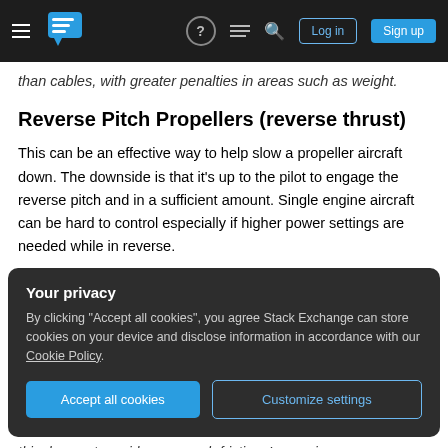Stack Exchange navigation bar with hamburger menu, logo, question mark, comments, search, Log in, Sign up
than cables, with greater penalties in areas such as weight.
Reverse Pitch Propellers (reverse thrust)
This can be an effective way to help slow a propeller aircraft down. The downside is that it's up to the pilot to engage the reverse pitch and in a sufficient amount. Single engine aircraft can be hard to control especially if higher power settings are needed while in reverse.
Your privacy
By clicking "Accept all cookies", you agree Stack Exchange can store cookies on your device and disclose information in accordance with our Cookie Policy.
Accept all cookies
Customize settings
this does not provide very much friction. Increasing